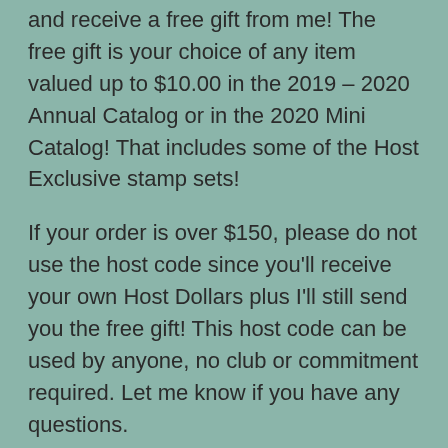use this host code when you order $50 or more and receive a free gift from me! The free gift is your choice of any item valued up to $10.00 in the 2019 – 2020 Annual Catalog or in the 2020 Mini Catalog! That includes some of the Host Exclusive stamp sets!
If your order is over $150, please do not use the host code since you'll receive your own Host Dollars plus I'll still send you the free gift! This host code can be used by anyone, no club or commitment required. Let me know if you have any questions.
If you need any stamping supplies, I'd be very